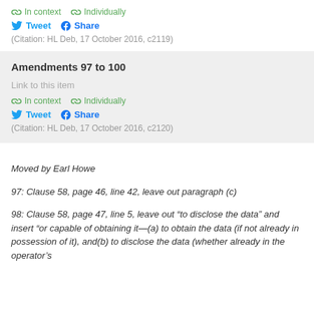In context   Individually
Tweet   Share
(Citation: HL Deb, 17 October 2016, c2119)
Amendments 97 to 100
Link to this item
In context   Individually
Tweet   Share
(Citation: HL Deb, 17 October 2016, c2120)
Moved by Earl Howe
97: Clause 58, page 46, line 42, leave out paragraph (c)
98: Clause 58, page 47, line 5, leave out “to disclose the data” and insert “or capable of obtaining it—(a) to obtain the data (if not already in possession of it), and(b) to disclose the data (whether already in the operator’s